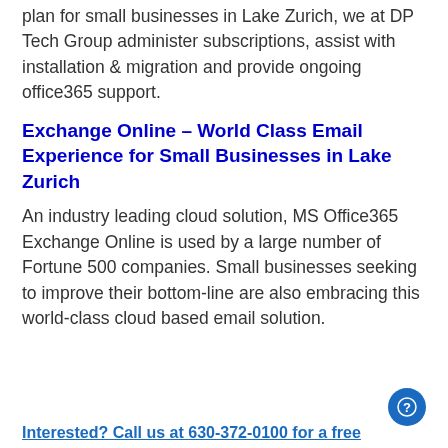plan for small businesses in Lake Zurich, we at DP Tech Group administer subscriptions, assist with installation & migration and provide ongoing office365 support.
Exchange Online – World Class Email Experience for Small Businesses in Lake Zurich
An industry leading cloud solution, MS Office365 Exchange Online is used by a large number of Fortune 500 companies. Small businesses seeking to improve their bottom-line are also embracing this world-class cloud based email solution.
Interested? Call us at 630-372-0100 for a free